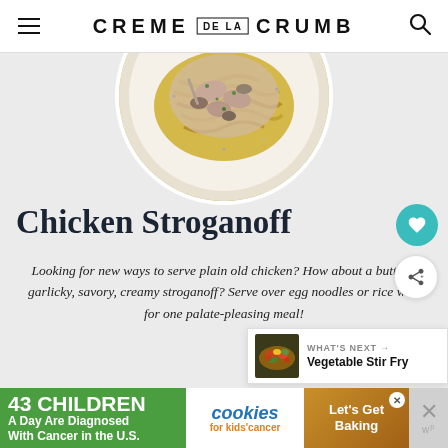CREME DE LA CRUMB
[Figure (photo): Overhead view of chicken stroganoff in a white speckled bowl with egg noodles, creamy sauce, mushrooms, and herbs]
Chicken Stroganoff
Looking for new ways to serve plain old chicken? How about a buttery, garlicky, savory, creamy stroganoff? Serve over egg noodles or rice with for one palate-pleasing meal!
[Figure (photo): What's Next thumbnail - Vegetable Stir Fry]
WHAT'S NEXT → Vegetable Stir Fry
[Figure (infographic): Advertisement: 43 Children A Day Are Diagnosed With Cancer in the U.S. - cookies for kids' cancer - Let's Get Baking]